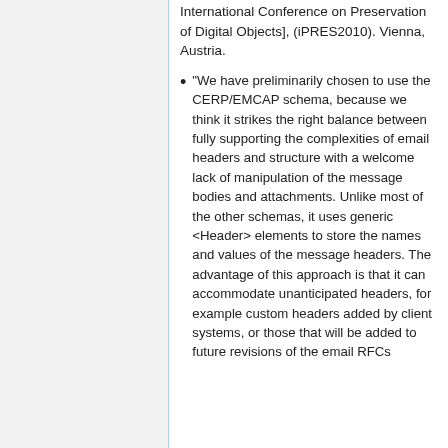International Conference on Preservation of Digital Objects], (iPRES2010). Vienna, Austria.
"We have preliminarily chosen to use the CERP/EMCAP schema, because we think it strikes the right balance between fully supporting the complexities of email headers and structure with a welcome lack of manipulation of the message bodies and attachments. Unlike most of the other schemas, it uses generic <Header> elements to store the names and values of the message headers. The advantage of this approach is that it can accommodate unanticipated headers, for example custom headers added by client systems, or those that will be added to future revisions of the email RFCs